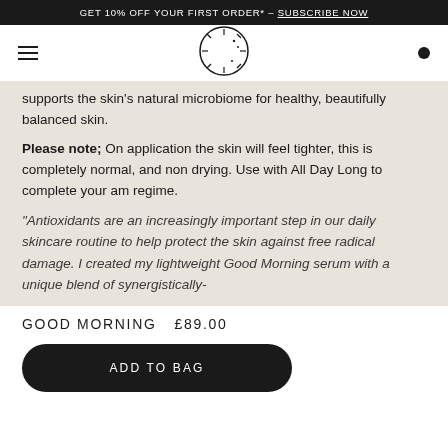GET 10% OFF YOUR FIRST ORDER* – SUBSCRIBE NOW
[Figure (logo): Sun and moon circular logo icon for navigation bar]
supports the skin's natural microbiome for healthy, beautifully balanced skin.
Please note; On application the skin will feel tighter, this is completely normal, and non drying. Use with All Day Long to complete your am regime.
"Antioxidants are an increasingly important step in our daily skincare routine to help protect the skin against free radical damage. I created my lightweight Good Morning serum with a unique blend of synergistically-
GOOD MORNING   £89.00
ADD TO BAG